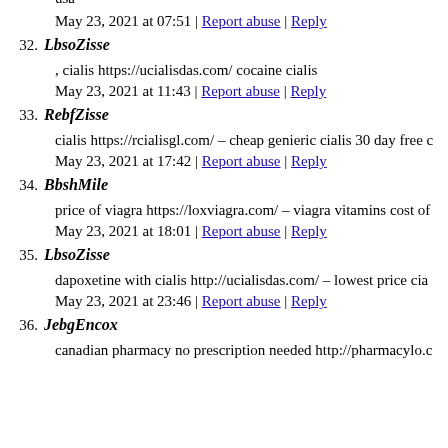usa
May 23, 2021 at 07:51 | Report abuse | Reply
32. LbsoZisse
, cialis https://ucialisdas.com/ cocaine cialis
May 23, 2021 at 11:43 | Report abuse | Reply
33. RebfZisse
cialis https://rcialisgl.com/ – cheap genieric cialis 30 day free c
May 23, 2021 at 17:42 | Report abuse | Reply
34. BbshMile
price of viagra https://loxviagra.com/ – viagra vitamins cost of
May 23, 2021 at 18:01 | Report abuse | Reply
35. LbsoZisse
dapoxetine with cialis http://ucialisdas.com/ – lowest price cia
May 23, 2021 at 23:46 | Report abuse | Reply
36. JebgEncox
canadian pharmacy no prescription needed http://pharmacylo.c